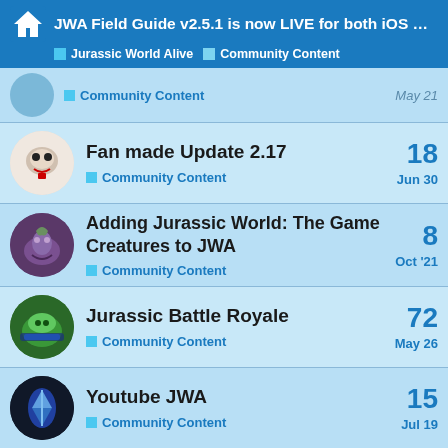JWA Field Guide v2.5.1 is now LIVE for both iOS ... | Jurassic World Alive | Community Content
Community Content — May 21
Fan made Update 2.17 — 18 replies — Community Content — Jun 30
Adding Jurassic World: The Game Creatures to JWA — 8 replies — Community Content — Oct '21
Jurassic Battle Royale — 72 replies — Community Content — May 26
Youtube JWA — 15 replies — Community Content — Jul 19
Want to read more? Browse other topics in Community Content or view latest topics.